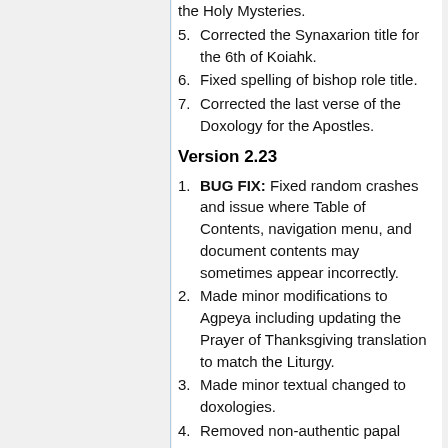Communion at the Distribution of the Holy Mysteries.
5. Corrected the Synaxarion title for the 6th of Koiahk.
6. Fixed spelling of bishop role title.
7. Corrected the last verse of the Doxology for the Apostles.
Version 2.23
1. BUG FIX: Fixed random crashes and issue where Table of Contents, navigation menu, and document contents may sometimes appear incorrectly.
2. Made minor modifications to Agpeya including updating the Prayer of Thanksgiving translation to match the Liturgy.
3. Made minor textual changed to doxologies.
4. Removed non-authentic papal